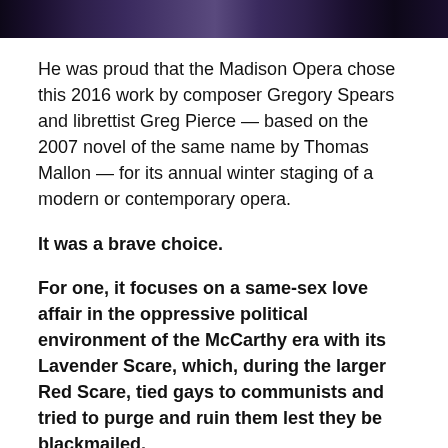[Figure (photo): A cropped photograph showing a theatrical opera stage scene with performers in a dark, dramatic lighting environment with blue and purple tones.]
He was proud that the Madison Opera chose this 2016 work by composer Gregory Spears and librettist Greg Pierce — based on the 2007 novel of the same name by Thomas Mallon — for its annual winter staging of a modern or contemporary opera.
It was a brave choice.
For one, it focuses on a same-sex love affair in the oppressive political environment of the McCarthy era with its Lavender Scare, which, during the larger Red Scare, tied gays to communists and tried to purge and ruin them lest they be blackmailed.
In addition, the opera speaks to today's politics of smear and fear, as practiced by President Donald